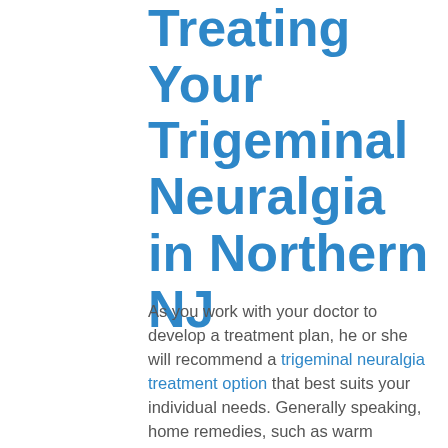Treating Your Trigeminal Neuralgia in Northern NJ
As you work with your doctor to develop a treatment plan, he or she will recommend a trigeminal neuralgia treatment option that best suits your individual needs. Generally speaking, home remedies, such as warm compresses, are helpful to provide relief from symptoms but will not resolve the issue. Most patients will initially be put on a course of medication, such as an antidepressant to reduce the